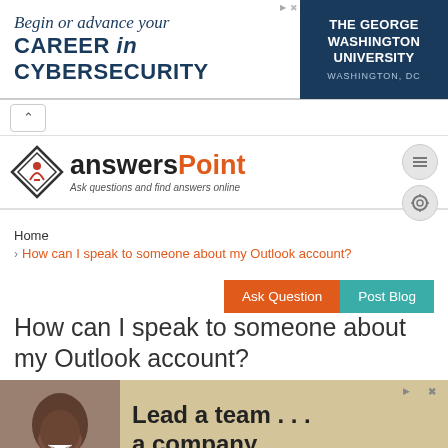[Figure (screenshot): Advertisement banner: 'Begin or advance your CAREER in CYBERSECURITY' with The George Washington University logo on the right]
[Figure (logo): answersPoint logo with diamond icon and tagline 'Ask questions and find answers online']
Home
> How can I speak to someone about my Outlook account?
Ask Question
Post Blog
How can I speak to someone about my Outlook account?
[Figure (photo): Advertisement with photo of smiling man and text 'Lead a team... a company... an industry']